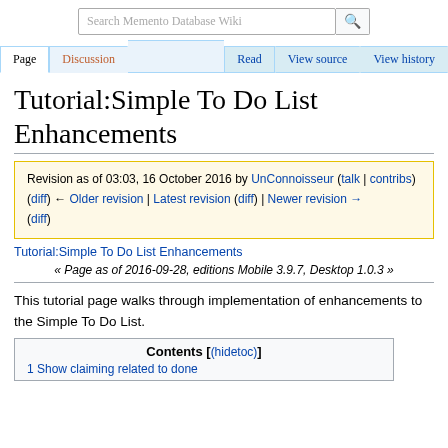Search Memento Database Wiki
Page | Discussion | Read | View source | View history
Tutorial:Simple To Do List Enhancements
Revision as of 03:03, 16 October 2016 by UnConnoisseur (talk | contribs)
(diff) ← Older revision | Latest revision (diff) | Newer revision → (diff)
Tutorial:Simple To Do List Enhancements
« Page as of 2016-09-28, editions Mobile 3.9.7, Desktop 1.0.3 »
This tutorial page walks through implementation of enhancements to the Simple To Do List.
Contents [(hidetoc)]
1 Show claiming related to done